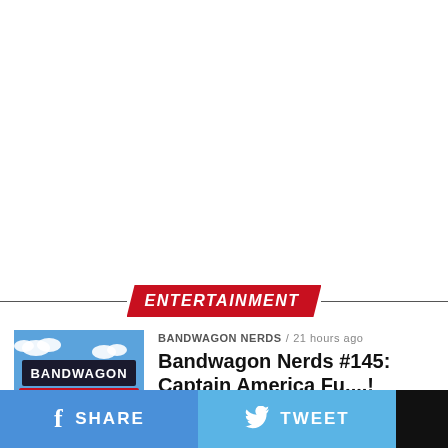ENTERTAINMENT
BANDWAGON NERDS / 21 hours ago
Bandwagon Nerds #145: Captain America Fu....!
[Figure (logo): Bandwagon Nerds podcast logo with retro video game style graphics, blue sky background, green ground, red NERDS text, clock graphic]
SHARE   TWEET